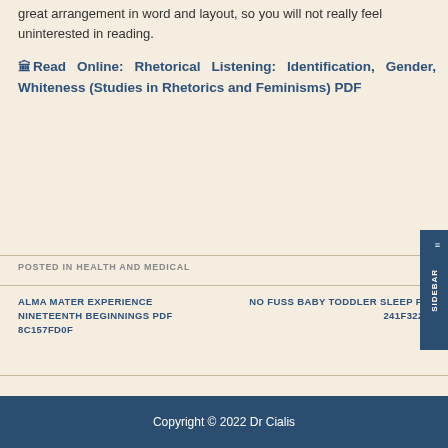great arrangement in word and layout, so you will not really feel uninterested in reading.
🏛Read Online: Rhetorical Listening: Identification, Gender, Whiteness (Studies in Rhetorics and Feminisms) PDF
POSTED IN HEALTH AND MEDICAL
ALMA MATER EXPERIENCE NINETEENTH BEGINNINGS PDF 8C157FD0F
NO FUSS BABY TODDLER SLEEP PDF 241F3229E
Copyright © 2022 Dr Cialis